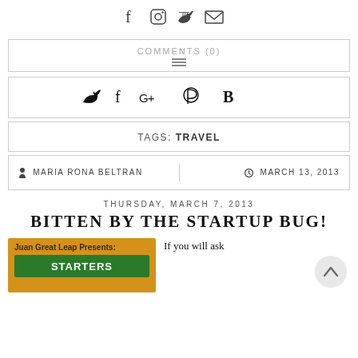Social share icons: f (Facebook), Instagram, Twitter, Email
COMMENTS (0)
Share icons: Twitter, Facebook, Google+, Pinterest, Bloglovin
TAGS: TRAVEL
MARIA RONA BELTRAN | MARCH 13, 2013
THURSDAY, MARCH 7, 2013
BITTEN BY THE STARTUP BUG!
[Figure (photo): Orange promotional image with text 'Juan Great Leap Presents:' and a green bar with white text below]
If you will ask